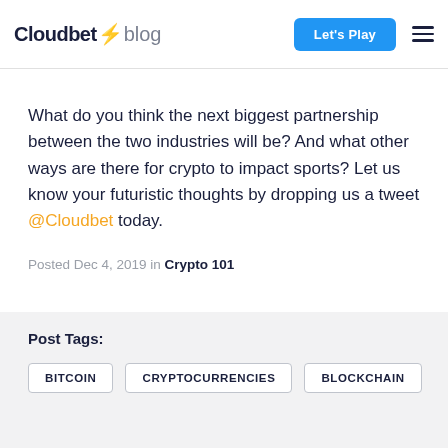Cloudbet ⚡ blog | Let's Play
What do you think the next biggest partnership between the two industries will be? And what other ways are there for crypto to impact sports? Let us know your futuristic thoughts by dropping us a tweet @Cloudbet today.
Posted Dec 4, 2019 in Crypto 101
Post Tags:
BITCOIN
CRYPTOCURRENCIES
BLOCKCHAIN